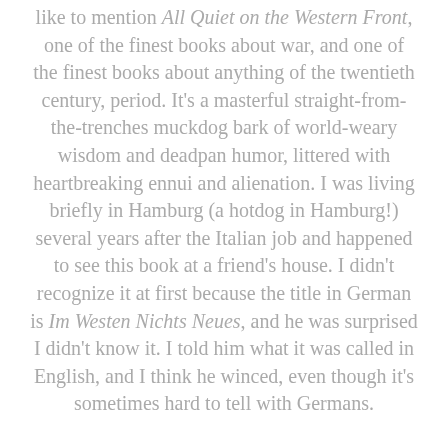like to mention All Quiet on the Western Front, one of the finest books about war, and one of the finest books about anything of the twentieth century, period. It's a masterful straight-from-the-trenches muckdog bark of world-weary wisdom and deadpan humor, littered with heartbreaking ennui and alienation. I was living briefly in Hamburg (a hotdog in Hamburg!) several years after the Italian job and happened to see this book at a friend's house. I didn't recognize it at first because the title in German is Im Westen Nichts Neues, and he was surprised I didn't know it. I told him what it was called in English, and I think he winced, even though it's sometimes hard to tell with Germans.